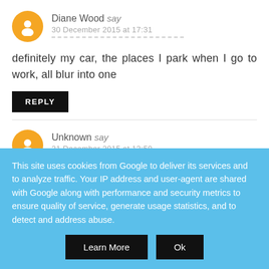Diane Wood say
30 December 2015 at 17:31
definitely my car, the places I park when I go to work, all blur into one
REPLY
Unknown say
31 December 2015 at 13:59
This site uses cookies from Google to deliver its services and to analyze traffic. Your IP address and user-agent are shared with Google along with performance and security metrics to ensure quality of service, generate usage statistics, and to detect and address abuse.
Learn More
Ok